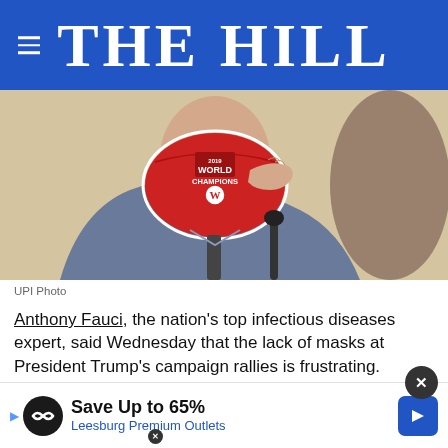THE HILL
[Figure (photo): Person wearing a red Washington Nationals 2019 World Champions face mask, adjusting it near a microphone, wearing a blue suit and tie]
UPI Photo
Anthony Fauci, the nation's top infectious diseases expert, said Wednesday that the lack of masks at President Trump's campaign rallies is frustrating.
"Is that frustrating to you?" host Gayle King asked Fauci [ad overlay] masks amid